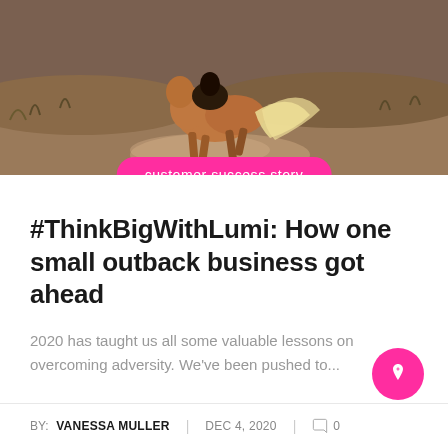[Figure (photo): A horse running through dusty outback terrain, viewed from behind, with a blonde/white tail flowing. Rider visible on horseback. Arid landscape with sparse vegetation and hills in background.]
customer success story
#ThinkBigWithLumi: How one small outback business got ahead
2020 has taught us all some valuable lessons on overcoming adversity. We've been pushed to...
BY: VANESSA MULLER | DEC 4, 2020 | 0